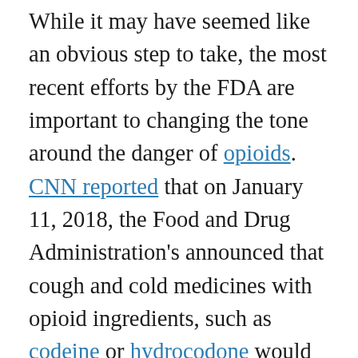While it may have seemed like an obvious step to take, the most recent efforts by the FDA are important to changing the tone around the danger of opioids. CNN reported that on January 11, 2018, the Food and Drug Administration's announced that cough and cold medicines with opioid ingredients, such as codeine or hydrocodone would have their labels revised. The labels will now address warnings that regardless of age, no child should be given these types of medications. Due to the ever-increasing opioid epidemic, the FDA explained that it is too risky for children to use these products and should only